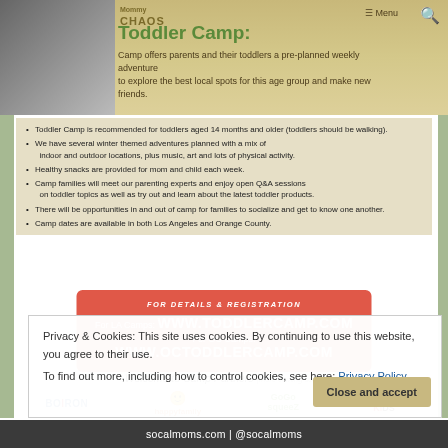Toddler Camp: Camp offers parents and their toddlers a pre-planned weekly adventure to explore the best local spots for this age group and make new friends.
Toddler Camp is recommended for toddlers aged 14 months and older (toddlers should be walking).
We have several winter themed adventures planned with a mix of indoor and outdoor locations, plus music, art and lots of physical activity.
Healthy snacks are provided for mom and child each week.
Camp families will meet our parenting experts and enjoy open Q&A sessions on toddler topics as well as try out and learn about the latest toddler products.
There will be opportunities in and out of camp for families to socialize and get to know one another.
Camp dates are available in both Los Angeles and Orange County.
FOR DETAILS & REGISTRATION
For LA Camps: WWW.TODDLERCAMP.COM
For OC Camps: WWW.OCTODDLERCAMP.COM
Welcome to Camp Partners (more coming soon)
[Figure (logo): Camp partner logos: BOIRON, happy family, GoGo squeeZ, HONEST KiDS]
Privacy & Cookies: This site uses cookies. By continuing to use this website, you agree to their use.
To find out more, including how to control cookies, see here: Privacy Policy
Close and accept
socalmoms.com | @socalmoms